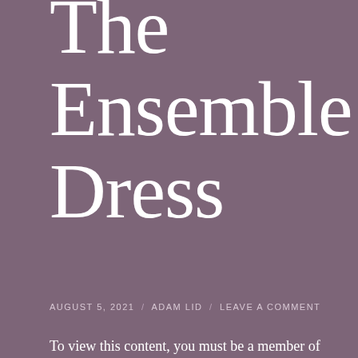The Ensemble Dress
AUGUST 5, 2021 / ADAM LID / LEAVE A COMMENT
To view this content, you must be a member of Atelier's Patreon at $3 or more
Announcements
[Figure (screenshot): Advertisement banner: Launch your online course with WordPress - Learn More button, dark background with teal text and a tree icon]